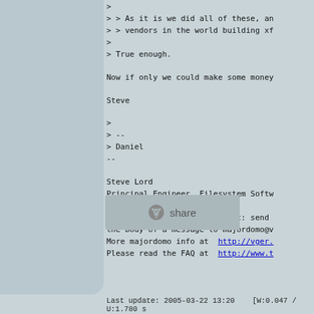> 
> > As it is we did all of these, an
> > vendors in the world building xf
>
> True enough.

Now if only we could make some money

Steve

>
> --
> Daniel
--

Steve Lord
Principal Engineer, Filesystem Softw
-
To unsubscribe from this list: send
the body of a message to majordomo@v
More majordomo info at  http://vger.
Please read the FAQ at  http://www.t
[Figure (other): Reddit share button with alien logo icon and 'share' text]
Last update: 2005-03-22 13:20    [W:0.047 / U:1.780 s